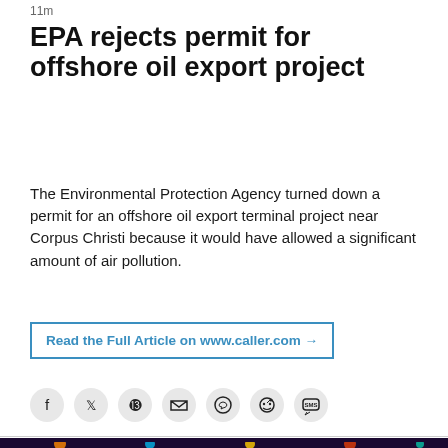11m
EPA rejects permit for offshore oil export project
The Environmental Protection Agency turned down a permit for an offshore oil export terminal project near Corpus Christi because it would have allowed a significant amount of air pollution.
Read the Full Article on www.caller.com →
[Figure (screenshot): Row of social media sharing icons: Facebook, Twitter, Pinterest, Email, WhatsApp, Reddit, SMS]
[Figure (photo): Concert photo showing performers on a brightly lit stage with colored lights and amplifiers, taken from the audience in a dark venue]